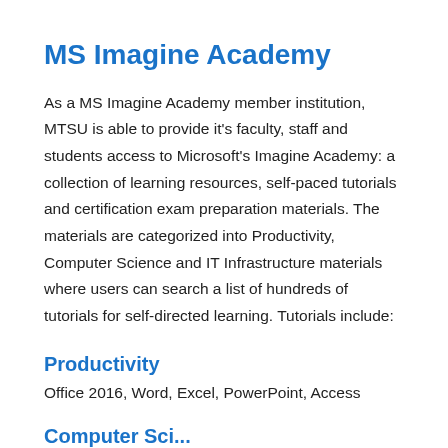MS Imagine Academy
As a MS Imagine Academy member institution, MTSU is able to provide it's faculty, staff and students access to Microsoft's Imagine Academy: a collection of learning resources, self-paced tutorials and certification exam preparation materials. The materials are categorized into Productivity, Computer Science and IT Infrastructure materials where users can search a list of hundreds of tutorials for self-directed learning. Tutorials include:
Productivity
Office 2016, Word, Excel, PowerPoint, Access
Computer Sci...